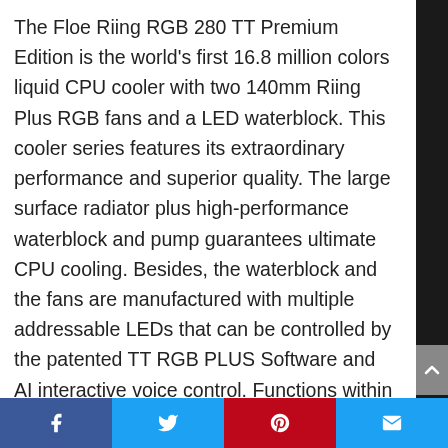The Floe Riing RGB 280 TT Premium Edition is the world's first 16.8 million colors liquid CPU cooler with two 140mm Riing Plus RGB fans and a LED waterblock. This cooler series features its extraordinary performance and superior quality. The large surface radiator plus high-performance waterblock and pump guarantees ultimate CPU cooling. Besides, the waterblock and the fans are manufactured with multiple addressable LEDs that can be controlled by the patented TT RGB PLUS Software and AI interactive voice control. Functions within the software also allow users to monitor fan performance and track CPU temperature. Enjoy better
Facebook | Twitter | Pinterest | Email